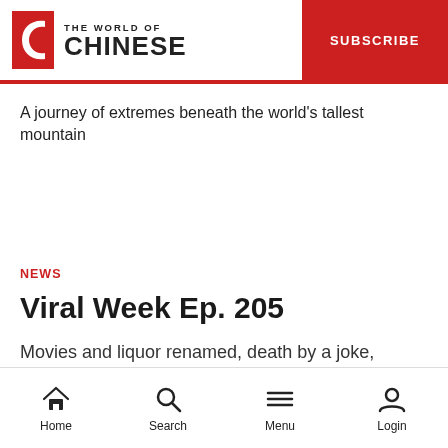THE WORLD OF CHINESE | SUBSCRIBE
A journey of extremes beneath the world's tallest mountain
NEWS
Viral Week Ep. 205
Movies and liquor renamed, death by a joke, another video assault, and the day that broke Weibo—it's Viral Week
Home | Search | Menu | Login